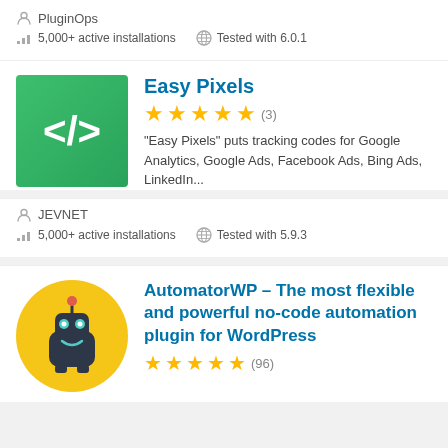PluginOps
5,000+ active installations   Tested with 6.0.1
Easy Pixels
★★★★★ (3)
"Easy Pixels" puts tracking codes for Google Analytics, Google Ads, Facebook Ads, Bing Ads, LinkedIn...
JEVNET
5,000+ active installations   Tested with 5.9.3
AutomatorWP – The most flexible and powerful no-code automation plugin for WordPress
★★★★★ (96)